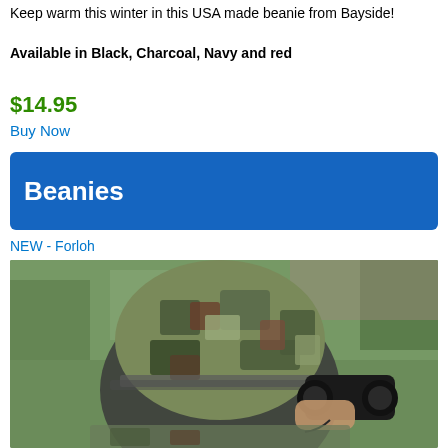Keep warm this winter in this USA made beanie from Bayside!
Available in Black, Charcoal, Navy and red
$14.95
Buy Now
Beanies
NEW - Forloh
[Figure (photo): Person wearing a camouflage beanie hat while looking through binoculars outdoors with trees in background]